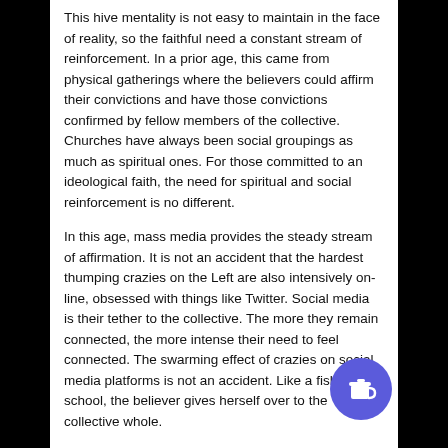This hive mentality is not easy to maintain in the face of reality, so the faithful need a constant stream of reinforcement. In a prior age, this came from physical gatherings where the believers could affirm their convictions and have those convictions confirmed by fellow members of the collective. Churches have always been social groupings as much as spiritual ones. For those committed to an ideological faith, the need for spiritual and social reinforcement is no different.
In this age, mass media provides the steady stream of affirmation. It is not an accident that the hardest thumping crazies on the Left are also intensively on-line, obsessed with things like Twitter. Social media is their tether to the collective. The more they remain connected, the more intense their need to feel connected. The swarming effect of crazies on social media platforms is not an accident. Like a fish in a school, the believer gives herself over to the collective whole.
Here is an example of how the mass media feeds the true believer. Note the conveniently large media-like...
[Figure (illustration): Buy Me a Coffee button — circular purple/blue badge with a white coffee cup icon]